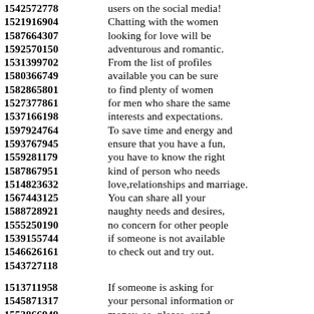1542572778 users on the social media!
1521916904 Chatting with the women
1587664307 looking for love will be
1592570150 adventurous and romantic.
1531399702 From the list of profiles
1580366749 available you can be sure
1582865801 to find plenty of women
1527377861 for men who share the same
1537166198 interests and expectations.
1597924764 To save time and energy and
1593767945 ensure that you have a fun,
1559281179 you have to know the right
1587867951 kind of person who needs
1514823632 love,relationships and marriage.
1567443125 You can share all your
1588728921 naughty needs and desires,
1555250190 no concern for other people
1539155744 if someone is not available
1546626161 to check out and try out.
1543727118
1513711958 If someone is asking for
1545871317 your personal information or
1553866949 money, so, please, send
1546456214 the message immediately
1525323869 and protect your privacy.